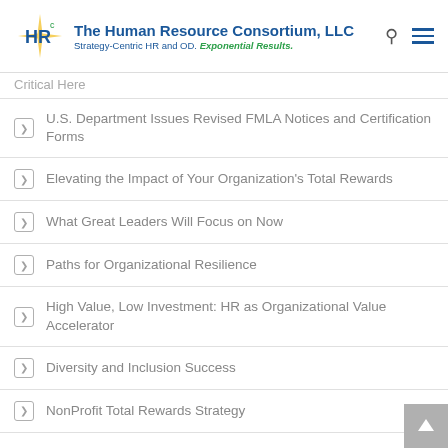The Human Resource Consortium, LLC — Strategy-Centric HR and OD. Exponential Results.
Critical Here
U.S. Department Issues Revised FMLA Notices and Certification Forms
Elevating the Impact of Your Organization's Total Rewards
What Great Leaders Will Focus on Now
Paths for Organizational Resilience
High Value, Low Investment: HR as Organizational Value Accelerator
Diversity and Inclusion Success
NonProfit Total Rewards Strategy